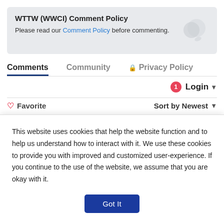WTTW (WWCI) Comment Policy
Please read our Comment Policy before commenting.
Comments   Community   Privacy Policy
1  Login ▾
♡ Favorite    Sort by Newest ▾
Start the discussion…
LOG IN WITH
This website uses cookies that help the website function and to help us understand how to interact with it. We use these cookies to provide you with improved and customized user-experience. If you continue to the use of the website, we assume that you are okay with it.
Got It